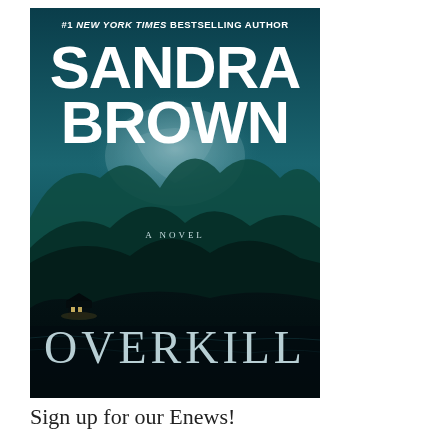[Figure (illustration): Book cover for 'Overkill' by Sandra Brown. Dark teal/blue background with mountain silhouettes and a ghostly face visible in the clouds. Text at top: '#1 NEW YORK TIMES BESTSELLING AUTHOR', large white text 'SANDRA BROWN' in the upper portion, 'A NOVEL' in the middle, and 'OVERKILL' in large stylized letters at the bottom. A small illuminated house is visible in the lower-left of the scene.]
Sign up for our Enews!